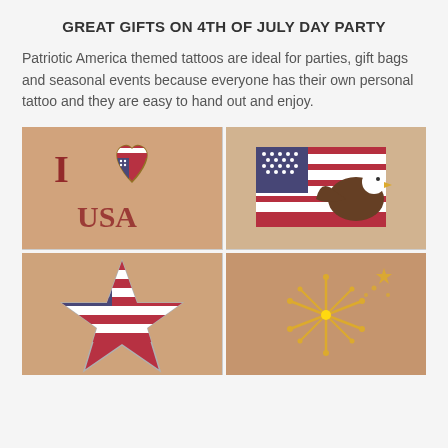GREAT GIFTS ON 4TH OF JULY DAY PARTY
Patriotic America themed tattoos are ideal for parties, gift bags and seasonal events because everyone has their own personal tattoo and they are easy to hand out and enjoy.
[Figure (photo): Four photos of patriotic America themed temporary tattoos on skin: top-left shows 'I Love USA' tattoo with American flag heart; top-right shows American flag with bald eagle tattoo; bottom-left shows star-shaped American flag tattoo; bottom-right shows gold fireworks tattoo.]